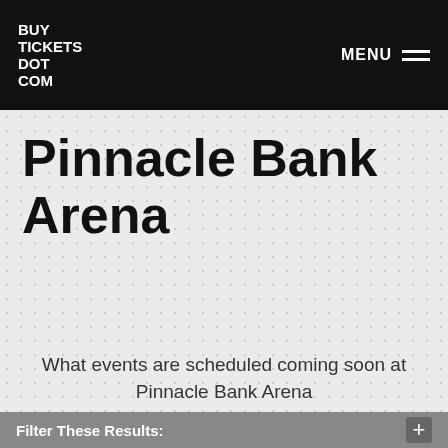BUY TICKETS DOT COM | MENU
Pinnacle Bank Arena
What events are scheduled coming soon at Pinnacle Bank Arena
Filter These Results: